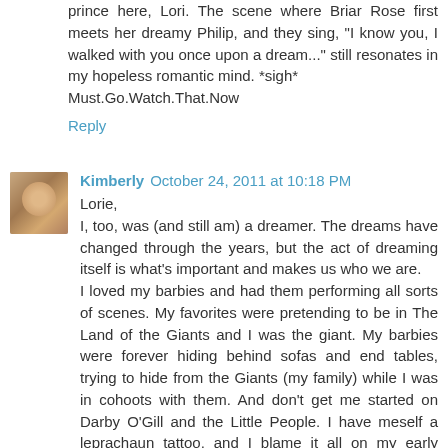prince here, Lori. The scene where Briar Rose first meets her dreamy Philip, and they sing, "I know you, I walked with you once upon a dream..." still resonates in my hopeless romantic mind. *sigh*
Must.Go.Watch.That.Now
Reply
Kimberly  October 24, 2011 at 10:18 PM
Lorie,
I, too, was (and still am) a dreamer. The dreams have changed through the years, but the act of dreaming itself is what's important and makes us who we are.
I loved my barbies and had them performing all sorts of scenes. My favorites were pretending to be in The Land of the Giants and I was the giant. My barbies were forever hiding behind sofas and end tables, trying to hide from the Giants (my family) while I was in cohoots with them. And don't get me started on Darby O'Gill and the Little People. I have meself a leprachaun tattoo, and I blame it all on my early stages of dreaming. :-)
I think that anyone who writes fiction must have an active